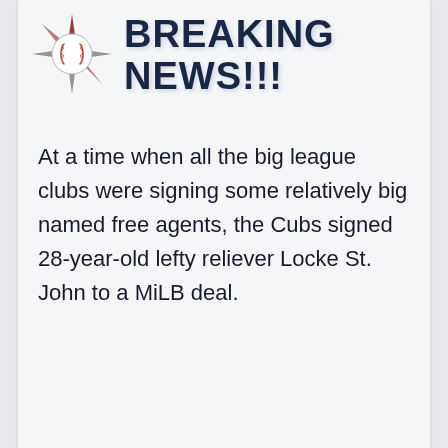[Figure (logo): Baseball with compass rose logo icon, dark red/maroon compass points with baseball in center]
BREAKING NEWS!!!
At a time when all the big league clubs were signing some relatively big named free agents, the Cubs signed 28-year-old lefty reliever Locke St. John to a MiLB deal.